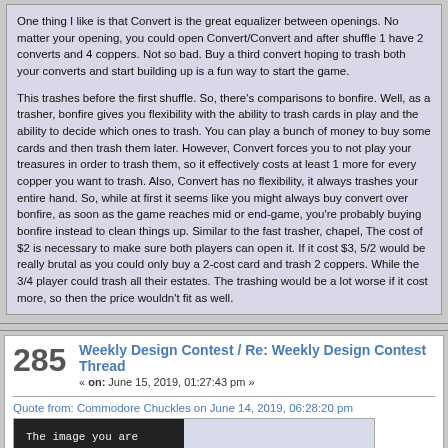One thing I like is that Convert is the great equalizer between openings. No matter your opening, you could open Convert/Convert and after shuffle 1 have 2 converts and 4 coppers. Not so bad. Buy a third convert hoping to trash both your converts and start building up is a fun way to start the game.

This trashes before the first shuffle. So, there's comparisons to bonfire. Well, as a trasher, bonfire gives you flexibility with the ability to trash cards in play and the ability to decide which ones to trash. You can play a bunch of money to buy some cards and then trash them later. However, Convert forces you to not play your treasures in order to trash them, so it effectively costs at least 1 more for every copper you want to trash. Also, Convert has no flexibility, it always trashes your entire hand. So, while at first it seems like you might always buy convert over bonfire, as soon as the game reaches mid or end-game, you're probably buying bonfire instead to clean things up. Similar to the fast trasher, chapel, The cost of $2 is necessary to make sure both players can open it. If it cost $3, 5/2 would be really brutal as you could only buy a 2-cost card and trash 2 coppers. While the 3/4 player could trash all their estates. The trashing would be a lot worse if it cost more, so then the price wouldn't fit as well.
285
Weekly Design Contest / Re: Weekly Design Contest Thread
« on: June 15, 2019, 01:27:43 pm »
Quote from: Commodore Chuckles on June 14, 2019, 06:28:20 pm
[Figure (other): Image error placeholder: black background with text 'The image you are requesting does not exist or is no longer available.' and 'imgur.com' below]